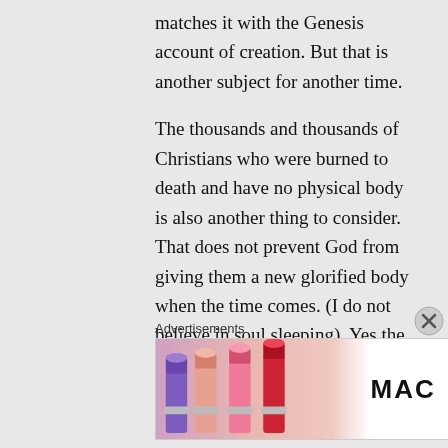matches it with the Genesis account of creation. But that is another subject for another time.
The thousands and thousands of Christians who were burned to death and have no physical body is also another thing to consider. That does not prevent God from giving them a new glorified body when the time comes. (I do not believe in soul sleeping). Yes the fact that the Bible speaks of a “New heaven and earth” can be applied either way—
Advertisements
[Figure (other): MAC Cosmetics advertisement showing colorful lipsticks on the left, the MAC logo in the center, and a SHOP NOW button on the right]